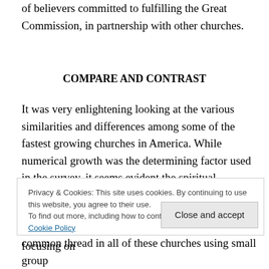of believers committed to fulfilling the Great Commission, in partnership with other churches.
COMPARE AND CONTRAST
It was very enlightening looking at the various similarities and differences among some of the fastest growing churches in America. While numerical growth was the determining factor used in the survey, it seems evident the spiritual formation and discipleship for all churches cited are on point with their numerical growth. In recent years, there has been a much-needed shift from focusing on
Privacy & Cookies: This site uses cookies. By continuing to use this website, you agree to their use. To find out more, including how to control cookies, see here: Cookie Policy
common thread in all of these churches using small group